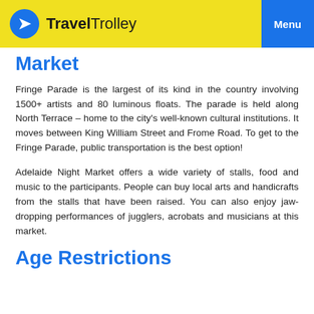Travel Trolley | Menu
Market
Fringe Parade is the largest of its kind in the country involving 1500+ artists and 80 luminous floats. The parade is held along North Terrace – home to the city's well-known cultural institutions. It moves between King William Street and Frome Road. To get to the Fringe Parade, public transportation is the best option!
Adelaide Night Market offers a wide variety of stalls, food and music to the participants. People can buy local arts and handicrafts from the stalls that have been raised. You can also enjoy jaw-dropping performances of jugglers, acrobats and musicians at this market.
Age Restrictions